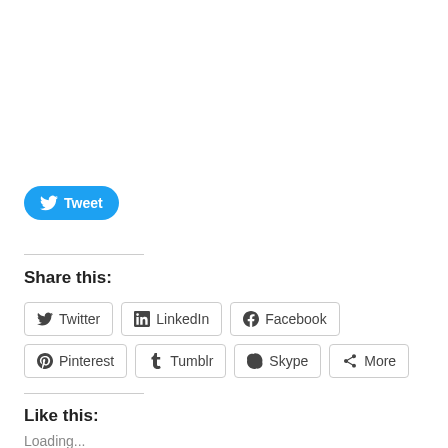[Figure (other): Tweet button with Twitter bird icon and 'Tweet' label in blue rounded button]
Share this:
[Figure (other): Social sharing buttons: Twitter, LinkedIn, Facebook, Pinterest, Tumblr, Skype, More]
Like this:
Loading...